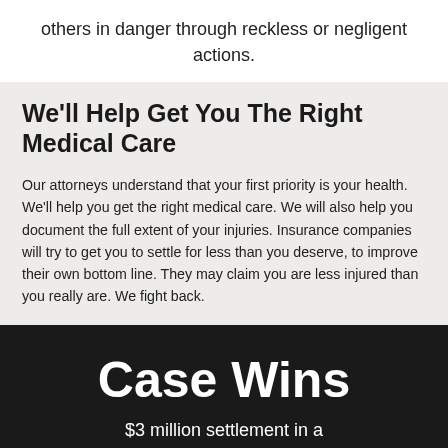others in danger through reckless or negligent actions.
We'll Help Get You The Right Medical Care
Our attorneys understand that your first priority is your health. We'll help you get the right medical care. We will also help you document the full extent of your injuries. Insurance companies will try to get you to settle for less than you deserve, to improve their own bottom line. They may claim you are less injured than you really are. We fight back.
Case Wins
$3 million settlement in a